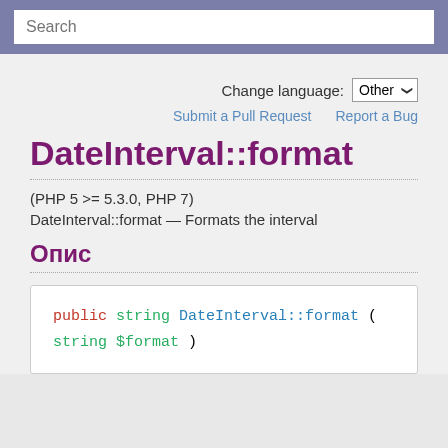Search
Change language: Other
Submit a Pull Request   Report a Bug
DateInterval::format
(PHP 5 >= 5.3.0, PHP 7)
DateInterval::format — Formats the interval
Опис
public string DateInterval::format ( string $format )